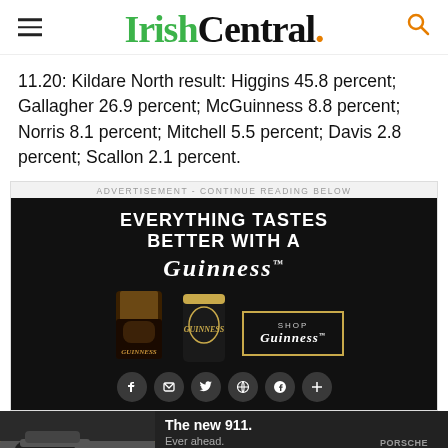IrishCentral.
11.20: Kildare North result: Higgins 45.8 percent; Gallagher 26.9 percent; McGuinness 8.8 percent; Norris 8.1 percent; Mitchell 5.5 percent; Davis 2.8 percent; Scallon 2.1 percent.
[Figure (other): Guinness advertisement: 'EVERYTHING TASTES BETTER WITH A GUINNESS' with pint glass, can, and shop button with social share icons below]
[Figure (other): Porsche advertisement: 'The new 911. Ever ahead.' with LEARN MORE button and Porsche logo, showing car on road]